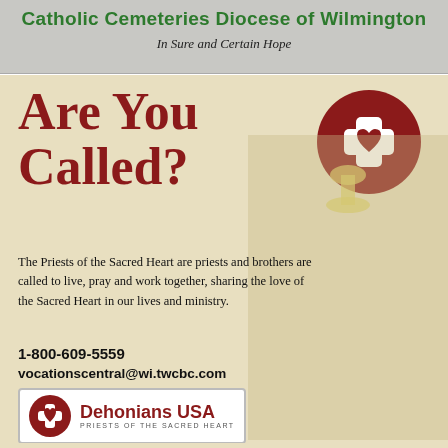Catholic Cemeteries Diocese of Wilmington
In Sure and Certain Hope
Are You Called?
[Figure (logo): Red circle with white cross and heart icon]
The Priests of the Sacred Heart are priests and brothers are called to live, pray and work together, sharing the love of the Sacred Heart in our lives and ministry.
1-800-609-5559
vocationscentral@wi.twcbc.com
[Figure (logo): Dehonians USA logo with cross-heart icon in red circle]
[CLICK HERE FOR MORE INFORMATION]